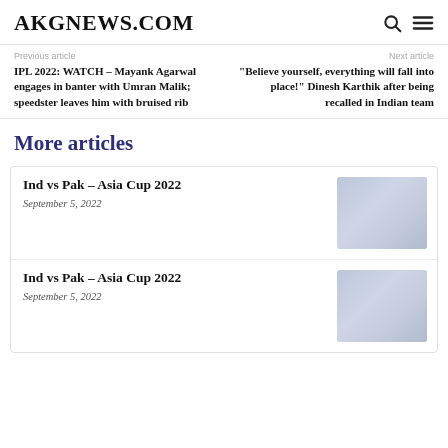AKGNEWS.COM
Previous article
IPL 2022: WATCH – Mayank Agarwal engages in banter with Umran Malik; speedster leaves him with bruised rib
Next article
"Believe yourself, everything will fall into place!" Dinesh Karthik after being recalled in Indian team
More articles
Ind vs Pak – Asia Cup 2022
September 5, 2022
Ind vs Pak – Asia Cup 2022
September 5, 2022